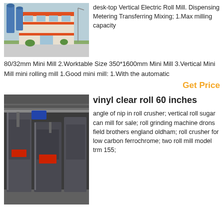[Figure (photo): Exterior photo of an industrial factory building with blue silos/tanks and orange-accented facade]
desk-top Vertical Electric Roll Mill. Dispensing Metering Transferring Mixing; 1.Max milling capacity 80/32mm Mini Mill 2.Worktable Size 350*1600mm Mini Mill 3.Vertical Mini Mill mini rolling mill 1.Good mini mill: 1.With the automatic
Get Price
[Figure (photo): Interior photo of an industrial facility showing large hydraulic press machines/roll mill equipment]
vinyl clear roll 60 inches
angle of nip in roll crusher; vertical roll sugar can mill for sale; roll grinding machine drons field brothers england oldham; roll crusher for low carbon ferrochrome; two roll mill model trm 155;